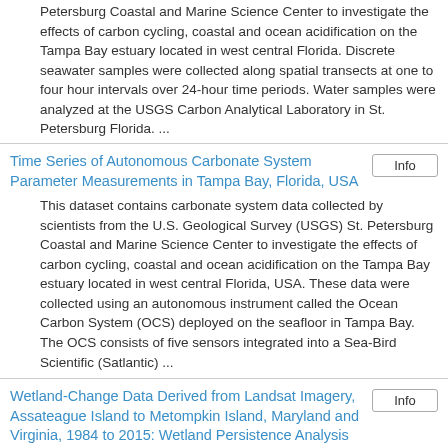Petersburg Coastal and Marine Science Center to investigate the effects of carbon cycling, coastal and ocean acidification on the Tampa Bay estuary located in west central Florida. Discrete seawater samples were collected along spatial transects at one to four hour intervals over 24-hour time periods. Water samples were analyzed at the USGS Carbon Analytical Laboratory in St. Petersburg Florida. ...
Time Series of Autonomous Carbonate System Parameter Measurements in Tampa Bay, Florida, USA
This dataset contains carbonate system data collected by scientists from the U.S. Geological Survey (USGS) St. Petersburg Coastal and Marine Science Center to investigate the effects of carbon cycling, coastal and ocean acidification on the Tampa Bay estuary located in west central Florida, USA. These data were collected using an autonomous instrument called the Ocean Carbon System (OCS) deployed on the seafloor in Tampa Bay. The OCS consists of five sensors integrated into a Sea-Bird Scientific (Satlantic) ...
Wetland-Change Data Derived from Landsat Imagery, Assateague Island to Metompkin Island, Maryland and Virginia, 1984 to 2015: Wetland Persistence Analysis
This U.S. Geological Survey (USGS) data release includes geospatial datasets that were created for the analysis of